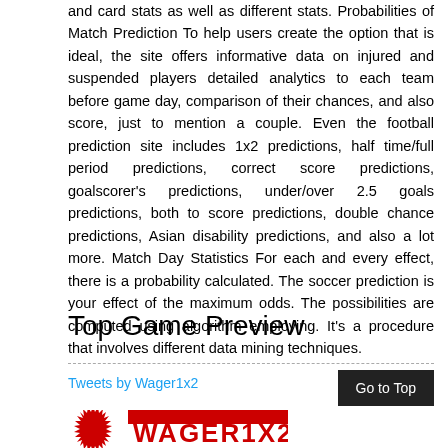and card stats as well as different stats. Probabilities of Match Prediction To help users create the option that is ideal, the site offers informative data on injured and suspended players detailed analytics to each team before game day, comparison of their chances, and also score, just to mention a couple. Even the football prediction site includes 1x2 predictions, half time/full period predictions, correct score predictions, goalscorer's predictions, under/over 2.5 goals predictions, both to score predictions, double chance predictions, Asian disability predictions, and also a lot more. Match Day Statistics For each and every effect, there is a probability calculated. The soccer prediction is your effect of the maximum odds. The possibilities are computed using algorithm employing. It's a procedure that involves different data mining techniques.
Top Game Preview
Tweets by Wager1x2
Go to Top
[Figure (logo): Red logo with circular badge and red text partially visible at bottom of page]